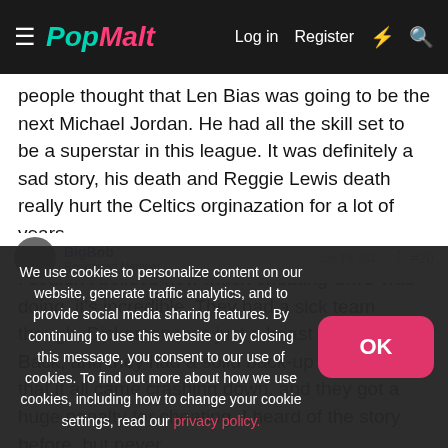PopMalt — Log in | Register
people thought that Len Bias was going to be the next Michael Jordan. He had all the skill set to be a superstar in this league. It was definitely a sad story, his death and Reggie Lewis death really hurt the Celtics orginazation for a lot of years.
I couldn't believe how much cheating SMU was doing, it's incredible. They had a sick team though, Dickerson was just a beast at Running Back, and they had a solid back-up too. But after that it all came crashing down, and they got a huge penalty for cheating. I heard of the story before, but never was aware of the sacrifice.
We use cookies to personalize content on our website, generate traffic analytics, and to provide social media sharing features. By continuing to use this website or by closing this message, you consent to our use of cookies. To find out more about how we use cookies, including how to change your cookie settings, read our privacy policy.